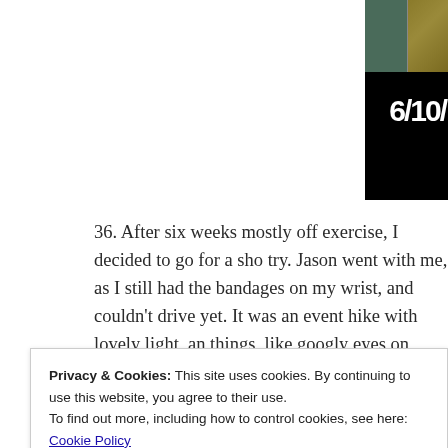[Figure (photo): Partial photo strip visible at top right showing nature/landscape photos and a counter overlay reading 6/10/]
36. After six weeks mostly off exercise, I decided to go for a short try. Jason went with me, as I still had the bandages on my wrist, and couldn't drive yet. It was an event hike with lovely light, and things, like googly eyes on signs. I brought my telephoto lens and skyline (about 20 miles away, but visible on the overlook in dec 52 Hike Challenge.]
Privacy & Cookies: This site uses cookies. By continuing to use this website, you agree to their use.
To find out more, including how to control cookies, see here: Cookie Policy

Close and accept
[Figure (photo): Partial photo strip at bottom right showing landscape/nature thumbnail images]